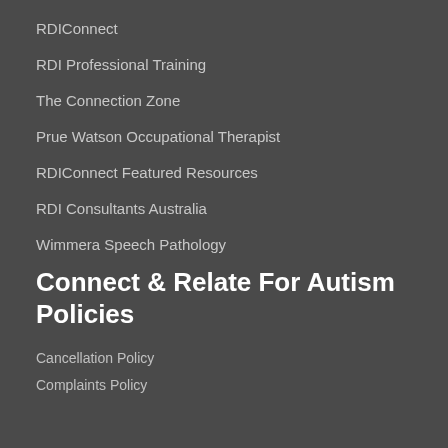RDIConnect
RDI Professional Training
The Connection Zone
Prue Watson Occupational Therapist
RDIConnect Featured Resources
RDI Consultants Australia
Wimmera Speech Pathology
Connect & Relate For Autism Policies
Cancellation Policy
Complaints Policy